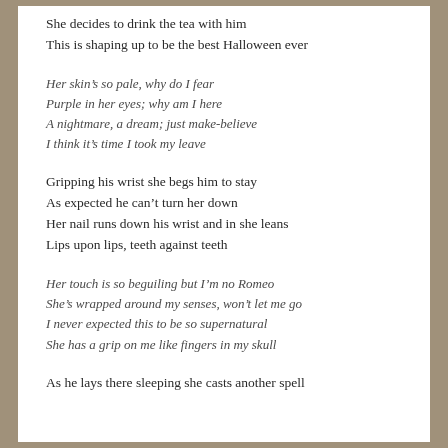She decides to drink the tea with him
This is shaping up to be the best Halloween ever
Her skin's so pale, why do I fear
Purple in her eyes; why am I here
A nightmare, a dream; just make-believe
I think it's time I took my leave
Gripping his wrist she begs him to stay
As expected he can't turn her down
Her nail runs down his wrist and in she leans
Lips upon lips, teeth against teeth
Her touch is so beguiling but I'm no Romeo
She's wrapped around my senses, won't let me go
I never expected this to be so supernatural
She has a grip on me like fingers in my skull
As he lays there sleeping she casts another spell